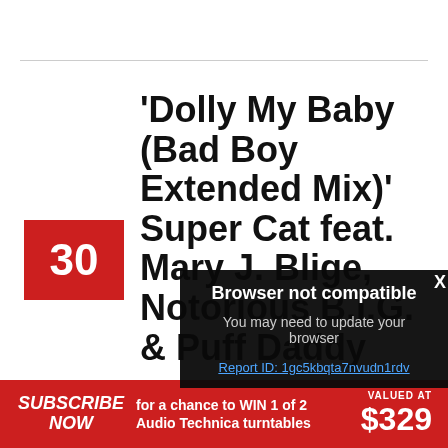'Dolly My Baby (Bad Boy Extended Mix)' Super Cat feat. Mary J. Blige, Notorious B.I.G. & Puff Daddy
30
[Figure (photo): Black and white photo, partial view of a person]
Browser not compatible
You may need to update your browser
Report ID: 1gc5kbqta7nvudn1rdv
SUBSCRIBE NOW for a chance to WIN 1 of 2 Audio Technica turntables VALUED AT $329